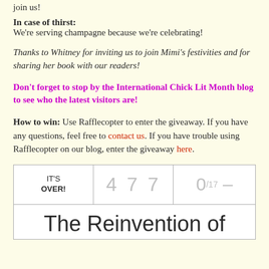join us!
In case of thirst:
We're serving champagne because we're celebrating!
Thanks to Whitney for inviting us to join Mimi's festivities and for sharing her book with our readers!
Don't forget to stop by the International Chick Lit Month blog to see who the latest visitors are!
How to win: Use Rafflecopter to enter the giveaway. If you have any questions, feel free to contact us. If you have trouble using Rafflecopter on our blog, enter the giveaway here.
[Figure (screenshot): Rafflecopter giveaway widget showing IT'S OVER!, entry count 477, 0/17, and title 'The Reinvention of']